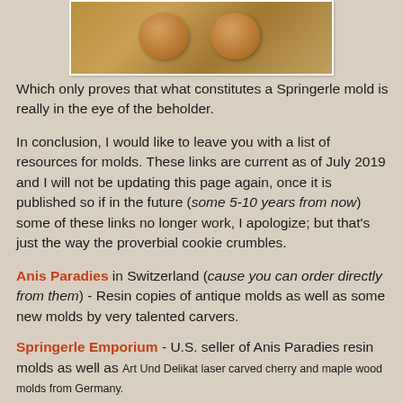[Figure (photo): Photo of two round Springerle cookies on a gray cloth background, shown inside a white-bordered frame]
Which only proves that what constitutes a Springerle mold is really in the eye of the beholder.
In conclusion, I would like to leave you with a list of resources for molds.  These links are current as of July 2019 and I will not be updating this page again, once it is published so if in the future (some  5-10 years from now) some of these links no longer work, I apologize; but that's just the way the proverbial cookie crumbles.
Anis Paradies in Switzerland (cause you can order directly from them) - Resin copies of antique molds as well as some new molds by very talented carvers.
Springerle Emporium -  U.S. seller of Anis Paradies resin molds as well as Art Und Delikat laser carved cherry and maple wood molds from Germany.